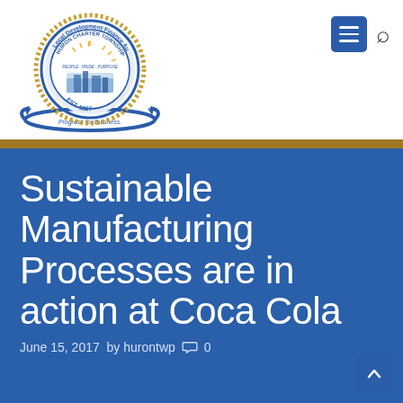[Figure (logo): Huron Charter Township Local Development Finance Authority seal/logo with circular text and progress for business arrows]
Sustainable Manufacturing Processes are in action at Coca Cola
June 15, 2017  by hurontwp  0